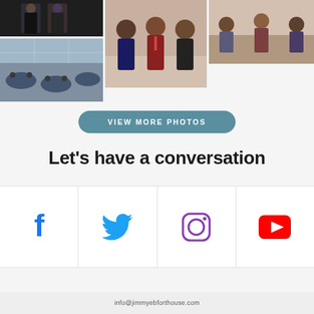[Figure (photo): Grid of event photos: top-left shows two men in suits, middle-left shows a dining/conference room with blue tablecloths, center shows group of people at event, right shows people seated in casual setting]
VIEW MORE PHOTOS
Let's have a conversation
[Figure (other): Social media icons row: Facebook (blue), Twitter (blue bird), Instagram (gradient/purple outline), YouTube (red)]
info@jimmyebforthouse.com